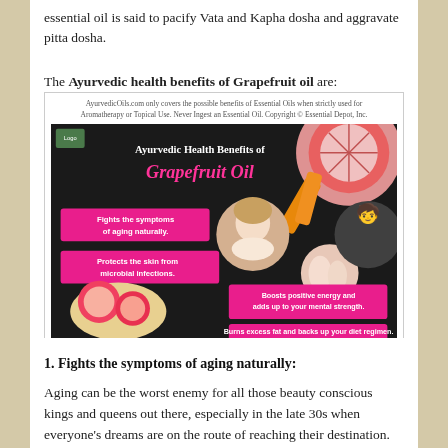essential oil is said to pacify Vata and Kapha dosha and aggravate pitta dosha.
The Ayurvedic health benefits of Grapefruit oil are:
[Figure (infographic): Infographic titled 'Ayurvedic Health Benefits of Grapefruit Oil' showing pink text boxes listing: Fights the symptoms of aging naturally, Protects the skin from microbial infections, Boosts positive energy and adds up to your mental strength, Burns excess fat and backs up your diet regimen. Background shows grapefruit images and circular portrait photos. Small disclaimer text at top.]
1. Fights the symptoms of aging naturally:
Aging can be the worst enemy for all those beauty conscious kings and queens out there, especially in the late 30s when everyone's dreams are on the route of reaching their destination. When thousands of chemical-